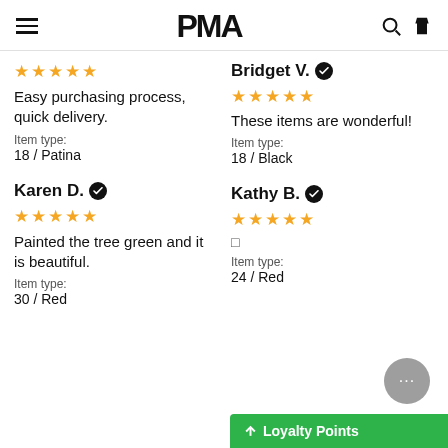PMA (logo) with hamburger menu, search and bag icons
Easy purchasing process, quick delivery.
Item type:
18 / Patina
Bridget V. ✔
★★★★★
These items are wonderful!
Item type:
18 / Black
Karen D. ✔
★★★★★
Painted the tree green and it is beautiful.
Item type:
30 / Red
Kathy B. ✔
★★★★★
Item type:
24 / Red